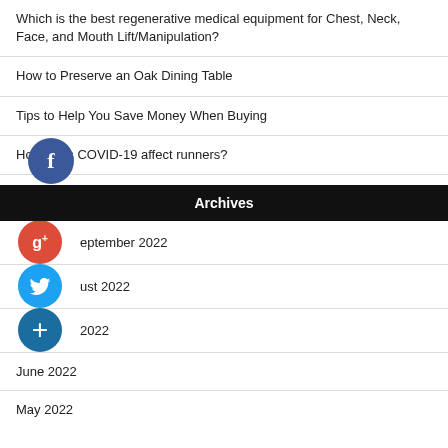Which is the best regenerative medical equipment for Chest, Neck, Face, and Mouth Lift/Manipulation?
How to Preserve an Oak Dining Table
Tips to Help You Save Money When Buying
How does COVID-19 affect runners?
Archives
September 2022
August 2022
July 2022
June 2022
May 2022